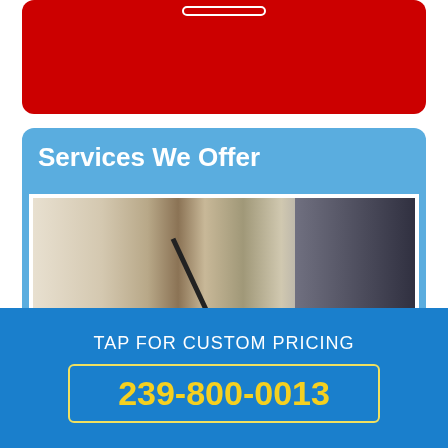[Figure (screenshot): Top red rounded rectangle bar with a white-bordered button outline]
Services We Offer
[Figure (photo): A carpet cleaning technician using a wand and blue hose with a commercial cleaning machine on carpet]
TAP FOR CUSTOM PRICING
239-800-0013